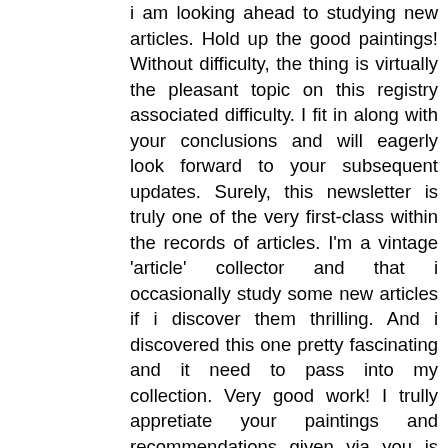i am looking ahead to studying new articles. Hold up the good paintings! Without difficulty, the thing is virtually the pleasant topic on this registry associated difficulty. I fit in along with your conclusions and will eagerly look forward to your subsequent updates. Surely, this newsletter is truly one of the very first-class within the records of articles. I'm a vintage 'article' collector and that i occasionally study some new articles if i discover them thrilling. And i discovered this one pretty fascinating and it need to pass into my collection. Very good work! I trully appretiate your paintings and recommendations given via you is helpful to me. I will percentage this statistics with my family & friends. This is a great internet site, preserve the nice evaluations coming. write my dissertation this is a first rate inspiring . I am quite lots pleased along with your correct paintings. You positioned actually very beneficial records. I am seeking to analyzing your next post. !!!! This text is virtually incorporates lot greater records approximately this subject matter. We have read your all the statistics some factors also are correct uncooked and some typically are first rate. Fantastic publish i would love to thank you for the efforts 미국 영주권